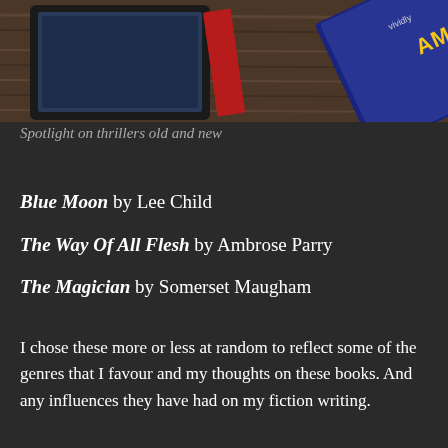[Figure (photo): Photo of books on a wooden surface, including a blue book with 'AMBROSE' visible on the cover, and what appears to be a tablet or e-reader with a black frame.]
Spotlight on thrillers old and new
Blue Moon by Lee Child
The Way Of All Flesh by Ambrose Parry
The Magician by Somerset Maugham
I chose these more or less at random to reflect some of the genres that I favour and my thoughts on these books. And any influences they have had on my fiction writing.
Blue Moon is a knock down drag out action thriller, the 24th in the hard-nosed series by Lee Child.